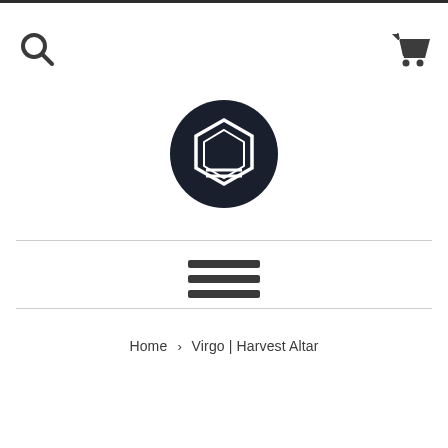[Figure (logo): Dark navy circular logo with a hexagon shape outline inside, centered on white background]
[Figure (other): Hamburger menu icon — three horizontal dark bars centered on page]
Home › Virgo | Harvest Altar